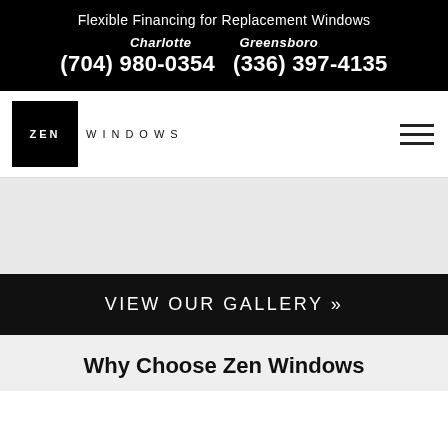Flexible Financing for Replacement Windows
Charlotte (704) 980-0354   Greensboro (336) 397-4135
[Figure (logo): Zen Windows logo: black square with 'ZEN' in white letters, followed by 'WINDOWS' in spaced uppercase text]
[Figure (photo): Hero image placeholder (light gray background)]
VIEW OUR GALLERY »
Why Choose Zen Windows